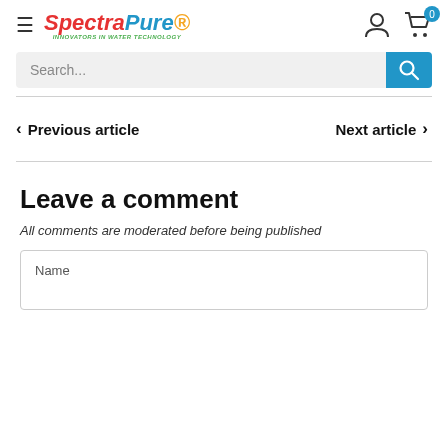SpectraPure INNOVATORS IN WATER TECHNOLOGY
Search...
< Previous article
Next article >
Leave a comment
All comments are moderated before being published
Name